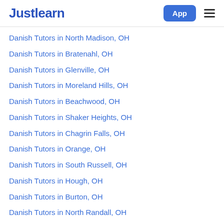Justlearn
Danish Tutors in North Madison, OH
Danish Tutors in Bratenahl, OH
Danish Tutors in Glenville, OH
Danish Tutors in Moreland Hills, OH
Danish Tutors in Beachwood, OH
Danish Tutors in Shaker Heights, OH
Danish Tutors in Chagrin Falls, OH
Danish Tutors in Orange, OH
Danish Tutors in South Russell, OH
Danish Tutors in Hough, OH
Danish Tutors in Burton, OH
Danish Tutors in North Randall, OH
Danish Tutors in Warrensville Heights, OH
Danish Tutors in Bedford Heights, OH
Danish Tutors in Bainbridge, OH
Danish Tutors in Solon, OH